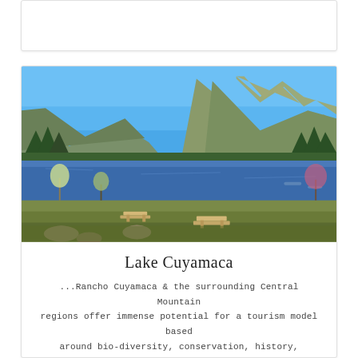[Figure (photo): Partial white card/box at top of page, mostly empty white space with light border]
[Figure (photo): Scenic landscape photograph of Lake Cuyamaca showing a blue mountain lake with green hills and a large mountain in the background under clear blue sky, with picnic tables and trees in the foreground]
Lake Cuyamaca
...Rancho Cuyamaca & the surrounding Central Mountain regions offer immense potential for a tourism model based around bio-diversity, conservation, history, heritage and